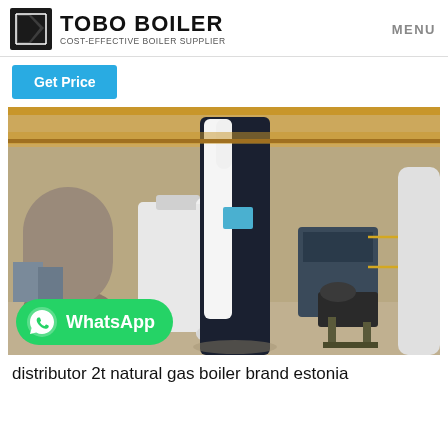TOBO BOILER - COST-EFFECTIVE BOILER SUPPLIER | MENU
Get Price
[Figure (photo): Industrial boiler manufacturing facility showing a tall black-and-white vertical boiler unit in the center foreground, with white cylindrical storage tanks, large industrial boilers, and equipment visible in the background of a large factory warehouse. A WhatsApp badge overlay is shown in the lower left corner.]
distributor 2t natural gas boiler brand estonia